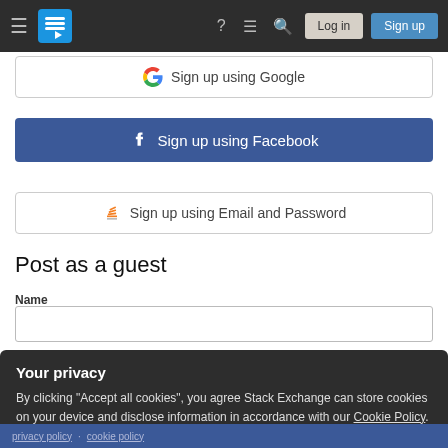Stack Exchange navigation bar with Log in and Sign up buttons
Sign up using Google
Sign up using Facebook
Sign up using Email and Password
Post as a guest
Name
Your privacy
By clicking "Accept all cookies", you agree Stack Exchange can store cookies on your device and disclose information in accordance with our Cookie Policy.
Accept all cookies
Customize settings